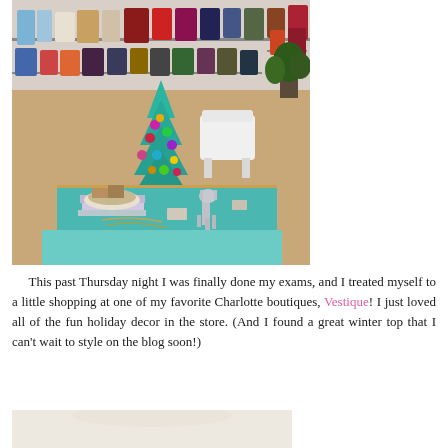[Figure (photo): Interior of a clothing boutique with racks of colorful clothes in the background, a teal/turquoise Christmas tree decorated with colorful ornaments in the center, and a teal table in the foreground with accessories, shoes, and a silver glitter reindeer figurine displayed on it.]
This past Thursday night I was finally done my exams, and I treated myself to a little shopping at one of my favorite Charlotte boutiques, Vestique! I just loved all of the fun holiday decor in the store. (And I found a great winter top that I can't wait to style on the blog soon!)
[Figure (photo): Partially visible photo at the bottom of the page, appears to show a light-colored scene.]